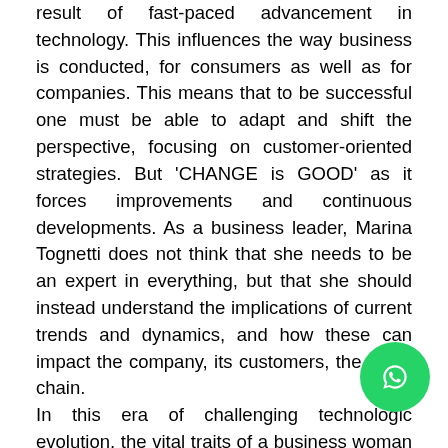result of fast-paced advancement in technology. This influences the way business is conducted, for consumers as well as for companies. This means that to be successful one must be able to adapt and shift the perspective, focusing on customer-oriented strategies. But 'CHANGE is GOOD' as it forces improvements and continuous developments. As a business leader, Marina Tognetti does not think that she needs to be an expert in everything, but that she should instead understand the implications of current trends and dynamics, and how these can impact the company, its customers, the value chain.
In this era of challenging technologic evolution, the vital traits of a business woman are similar to that of an innovative entrepreneur. She must have a strong vision, to set the direction and anticipate and navigate challenges, but at the same time be flexible and able to ada... must not be afraid of taking (calculated) risks, in or... to anticipate trends and steer the company in turbulent...